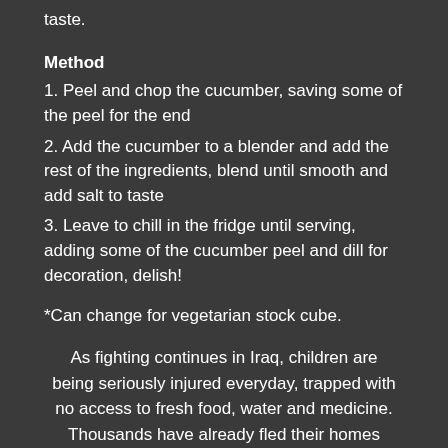taste.
Method
1. Peel and chop the cucumber, saving some of the peel for the end
2. Add the cucumber to a blender and add the rest of the ingredients, blend until smooth and add salt to taste
3. Leave to chill in the fridge until serving, adding some of the cucumber peel and dill for decoration, delish!
*Can change for vegetarian stock cube.
As fighting continues in Iraq, children are being seriously injured everyday, trapped with no access to fresh food, water and medicine. Thousands have already fled their homes and are now in camps just outside Mosul desperately needing help to survive, to